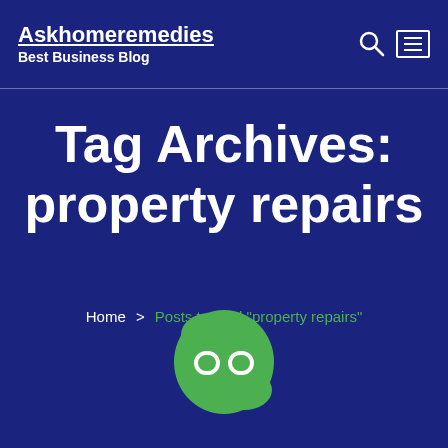Askhomeremedies — Best Business Blog
Tag Archives: property repairs
Home > Posts tagged "property repairs"
[Figure (illustration): Green rounded blob shape with a chain-link icon in white]